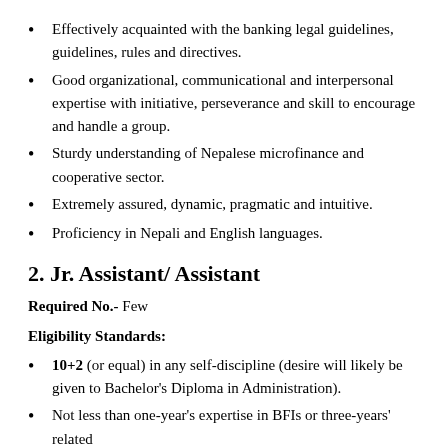Effectively acquainted with the banking legal guidelines, guidelines, rules and directives.
Good organizational, communicational and interpersonal expertise with initiative, perseverance and skill to encourage and handle a group.
Sturdy understanding of Nepalese microfinance and cooperative sector.
Extremely assured, dynamic, pragmatic and intuitive.
Proficiency in Nepali and English languages.
2. Jr. Assistant/ Assistant
Required No.- Few
Eligibility Standards:
10+2 (or equal) in any self-discipline (desire will likely be given to Bachelor's Diploma in Administration).
Not less than one-year's expertise in BFIs or three-years' related